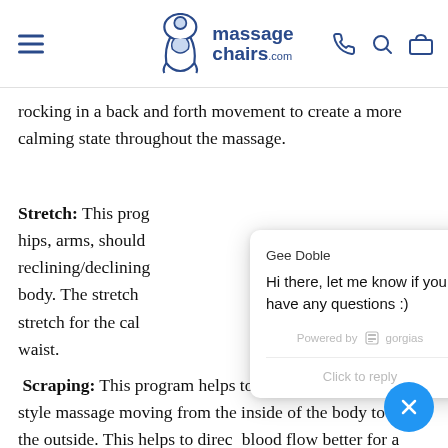massagechairs.com
rocking in a back and forth movement to create a more calming state throughout the massage.
Stretch: This prog... hips, arms, should... reclining/declining... body. The stretch... stretch for the cal... waist.
Scraping: This program helps to perform the scraping style massage moving from the inside of the body towards the outside. This helps to direct blood flow better for a better massage.
[Figure (screenshot): Chat popup from Gee Doble saying: Hi there, let me know if you have any questions :) Powered by gorgias. Click to reply.]